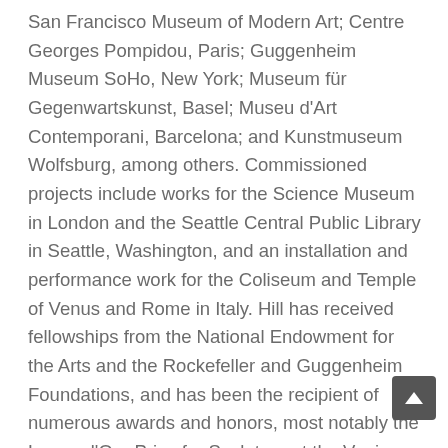San Francisco Museum of Modern Art; Centre Georges Pompidou, Paris; Guggenheim Museum SoHo, New York; Museum für Gegenwartskunst, Basel; Museu d'Art Contemporani, Barcelona; and Kunstmuseum Wolfsburg, among others. Commissioned projects include works for the Science Museum in London and the Seattle Central Public Library in Seattle, Washington, and an installation and performance work for the Coliseum and Temple of Venus and Rome in Italy. Hill has received fellowships from the National Endowment for the Arts and the Rockefeller and Guggenheim Foundations, and has been the recipient of numerous awards and honors, most notably the Leone d'Oro Prize for Sculpture at the Venice Biennale (1995), a John D. and Catherine T. MacArthur Foundation Fellowship Award (1998),